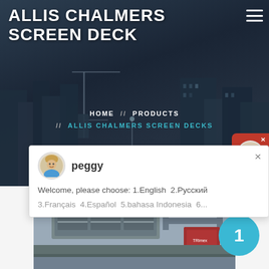ALLIS CHALMERS SCREEN DECK
HOME // PRODUCTS // ALLIS CHALMERS SCREEN DECKS
[Figure (screenshot): Chat popup with avatar of agent named 'peggy' and message: Welcome, please choose: 1.English  2.Русский  3.Français  4.Español  5.bahasa Indonesia  6...]
1
[Figure (photo): Industrial screen deck machinery in a factory setting with steel framework and equipment]